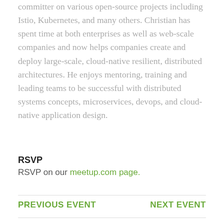committer on various open-source projects including Istio, Kubernetes, and many others. Christian has spent time at both enterprises as well as web-scale companies and now helps companies create and deploy large-scale, cloud-native resilient, distributed architectures. He enjoys mentoring, training and leading teams to be successful with distributed systems concepts, microservices, devops, and cloud-native application design.
RSVP
RSVP on our meetup.com page.
PREVIOUS EVENT   NEXT EVENT